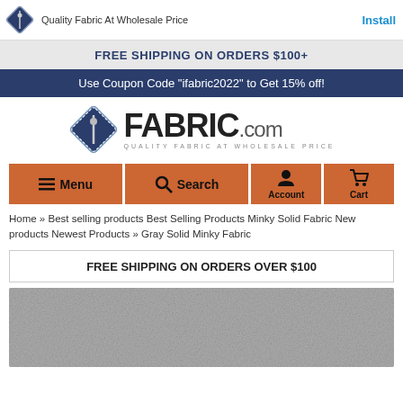Quality Fabric At Wholesale Price | Install
FREE SHIPPING ON ORDERS $100+
Use Coupon Code "ifabric2022" to Get 15% off!
[Figure (logo): iFabric.com logo with diamond pin icon and tagline QUALITY FABRIC AT WHOLESALE PRICE]
[Figure (screenshot): Navigation bar with orange buttons: Menu, Search, Account, Cart icons]
Home » Best selling products Best Selling Products Minky Solid Fabric New products Newest Products » Gray Solid Minky Fabric
FREE SHIPPING ON ORDERS OVER $100
[Figure (photo): Close-up texture photo of gray solid minky fabric]